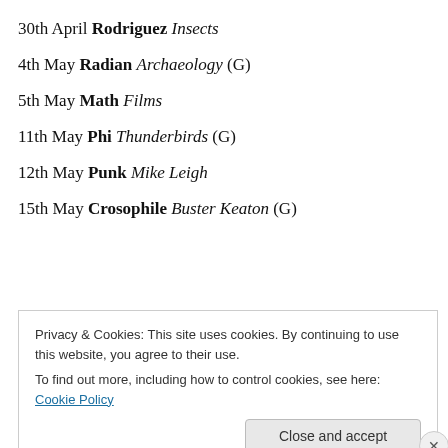30th April Rodriguez Insects
4th May Radian Archaeology (G)
5th May Math Films
11th May Phi Thunderbirds (G)
12th May Punk Mike Leigh
15th May Crosophile Buster Keaton (G)
Privacy & Cookies: This site uses cookies. By continuing to use this website, you agree to their use.
To find out more, including how to control cookies, see here: Cookie Policy
Close and accept